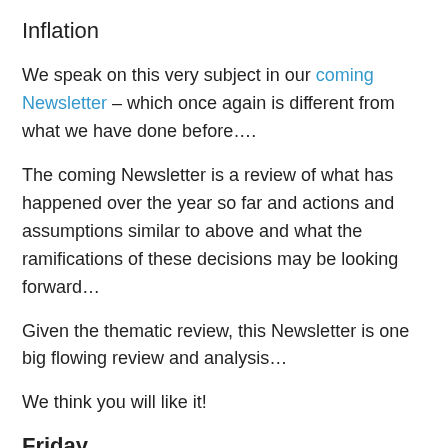Inflation
We speak on this very subject in our coming Newsletter – which once again is different from what we have done before….
The coming Newsletter is a review of what has happened over the year so far and actions and assumptions similar to above and what the ramifications of these decisions may be looking forward…
Given the thematic review, this Newsletter is one big flowing review and analysis…
We think you will like it!
Friday